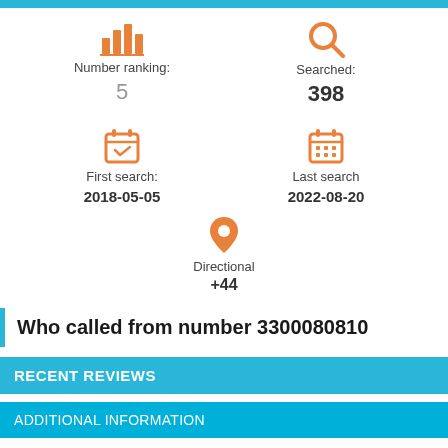[Figure (infographic): Top cyan/blue decorative bar]
Number ranking: 5
Searched: 398
First search: 2018-05-05
Last search 2022-08-20
Directional +44
Who called from number 3300080810
RECENT REVIEWS
ADDITIONAL INFORMATION